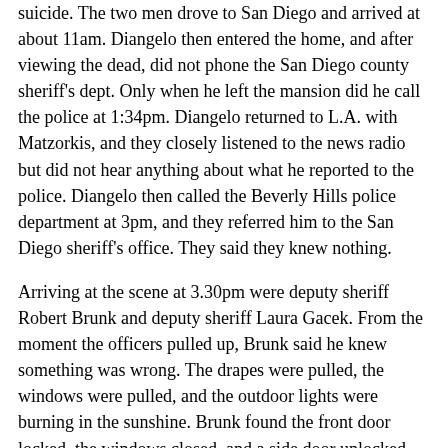suicide. The two men drove to San Diego and arrived at about 11am. Diangelo then entered the home, and after viewing the dead, did not phone the San Diego county sheriff's dept. Only when he left the mansion did he call the police at 1:34pm. Diangelo returned to L.A. with Matzorkis, and they closely listened to the news radio but did not hear anything about what he reported to the police. Diangelo then called the Beverly Hills police department at 3pm, and they referred him to the San Diego sheriff's office. They said they knew nothing.
Arriving at the scene at 3.30pm were deputy sheriff Robert Brunk and deputy sheriff Laura Gacek. From the moment the officers pulled up, Brunk said he knew something was wrong. The drapes were pulled, the windows were pulled, and the outdoor lights were burning in the sunshine. Brunk found the front door locked, the windows closed, and a side door unlocked.
The Heavens Gate leader Marshall Herff Applewhite had links to 19th century occultists Madame Blavatsky and novelist Samuel Langhorne Clemens, better known as Mark Twain. The Heavens Gate mansion at 18241 Colina Norte is just down the street from the San Diego River. This was a favourite spot of Mrs. Katherine A. Tingley, a disciple of Madame Blavatsky. Mrs. Tingley